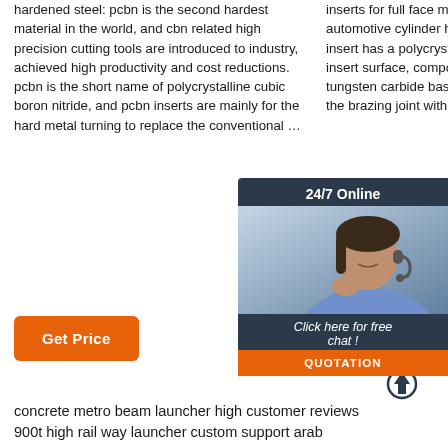hardened steel: pcbn is the second hardest material in the world, and cbn related high precision cutting tools are introduced to industry, achieved high productivity and cost reductions. pcbn is the short name of polycrystalline cubic boron nitride, and pcbn inserts are mainly for the hard metal turning to replace the conventional …
inserts for full face milling Aluminum alloy automotive cylinder head: Full top face milling pcd insert has a polycrystalline diamond layer on the insert surface, compound with presintered tungsten carbide base as a substrate, it eliminate the brazing joint with less delamination.
in HTML4 Meta data profiles.. rel. HTML4 definition of the 'rel' attribute. Here are some additional values, each of which can be omitted combined otherwise except while prohibited and the symmetry and …
[Figure (photo): Customer support representative with headset, 24/7 Online chat popup overlay with dark background and orange QUOTATION button]
Get Price
Get Price
Get Price
[Figure (other): TOP scroll-to-top icon with upward arrow]
concrete metro beam launcher high customer reviews 900t high rail way launcher custom support arab